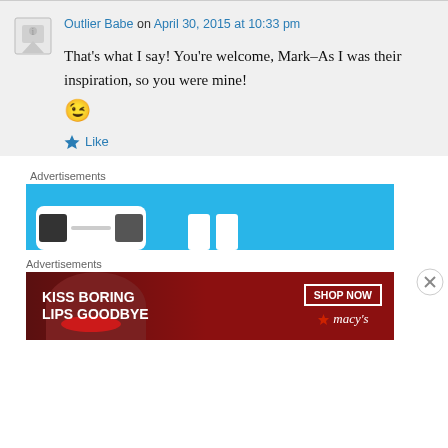Outlier Babe on April 30, 2015 at 10:33 pm
That's what I say! You're welcome, Mark–As I was their inspiration, so you were mine! 😉
Like
Advertisements
[Figure (screenshot): Blue advertisement banner with white rounded rectangle shapes and small icons]
[Figure (other): Close/X button circle]
Advertisements
[Figure (photo): Macy's advertisement: KISS BORING LIPS GOODBYE with SHOP NOW button and Macy's logo, woman with red lips on dark red background]